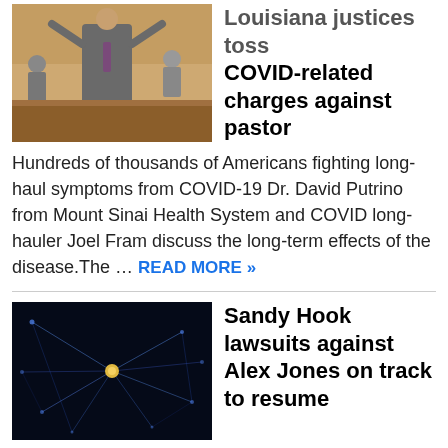[Figure (photo): A man in a suit with arms raised in a courtroom setting]
Louisiana justices toss COVID-related charges against pastor
Hundreds of thousands of Americans fighting long-haul symptoms from COVID-19 Dr. David Putrino from Mount Sinai Health System and COVID long-hauler Joel Fram discuss the long-term effects of the disease.The ... READ MORE »
[Figure (photo): Dark background with glowing network or particle visualization, showing connected nodes and lines in blue and gold]
Sandy Hook lawsuits against Alex Jones on track to resume
The Associated PressFILE – This Tuesday, Dec. 11, 2018, photo shows radio show host and conspiracy theorist Alex Jones at Capitol Hill in Washington. The Sandy Hook families' lawsuits